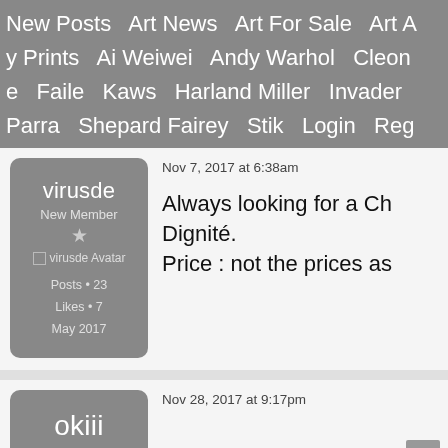New Posts   Art News   Art For Sale   Art A   y Prints   Ai Weiwei   Andy Warhol   Cleon   e   Faile   Kaws   Harland Miller   Invader   Parra   Shepard Fairey   Stik   Login   Reg
virusde
New Member
★
□virusde Avatar
Posts • 23
Likes • 7
May 2017
Nov 7, 2017 at 6:38am
Always looking for a Ch Dignité.
Price : not the prices as
okiii
New Member
Nov 28, 2017 at 9:17pm